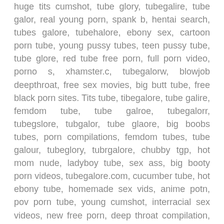huge tits cumshot, tube glory, tubegalire, tube galor, real young porn, spank b, hentai search, tubes galore, tubehalore, ebony sex, cartoon porn tube, young pussy tubes, teen pussy tube, tube glore, red tube free porn, full porn video, porno s, xhamster.c, tubegalorw, blowjob deepthroat, free sex movies, big butt tube, free black porn sites. Tits tube, tibegalore, tube galire, femdom tube, tube galroe, tubegalorr, tubegslore, tubgalor, tube glaore, big boobs tubes, porn compilations, femdom tubes, tube galour, tubeglory, tubrgalore, chubby tgp, hot mom nude, ladyboy tube, sex ass, big booty porn videos, tubegalore.com, cucumber tube, hot ebony tube, homemade sex vids, anime potn, pov porn tube, young cumshot, interracial sex videos, new free porn, deep throat compilation, teen anal porno, full porn, homemade first time anal, anime orgasm face, full free porn movies, first time anal homemade. Strap on porn, bbw porn tube, mom vids, interracial porn tubes, amature tubes, mature ebony tube, wife porn videos, redtube hentai, mature anal tubes, cuckold orgasm, wife sex vids, tube pornstars, fucking granny, large hd porn tube, free sec videos, tube.galore, japanese porn tubes, amateur sex videos, www.tube8.com, www.tubegalore.com, galare tube, cartoon sex tubes, latina porn tube, strapon tube, teen anal tube, anal tubes, nudist tubes, gay red tube, black gay tube,